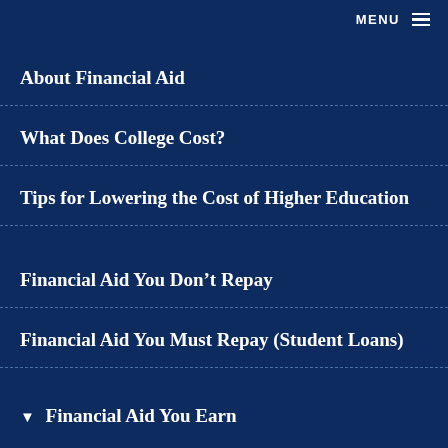MENU
About Financial Aid
What Does College Cost?
Tips for Lowering the Cost of Higher Education
Financial Aid You Don't Repay
Financial Aid You Must Repay (Student Loans)
▼ Financial Aid You Earn
Work Study...